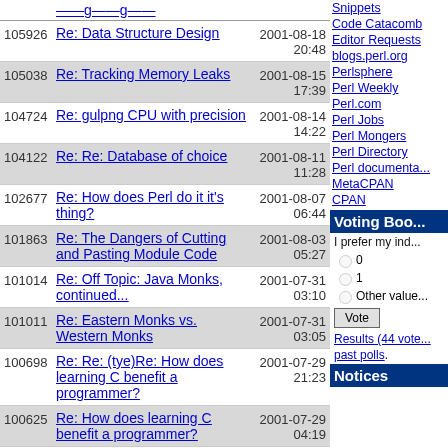| ID | Title | Date/Time |
| --- | --- | --- |
| 105926 | Re: Data Structure Design | 2001-08-18 20:48 |
| 105038 | Re: Tracking Memory Leaks | 2001-08-15 17:39 |
| 104724 | Re: gulpng CPU with precision | 2001-08-14 14:22 |
| 104122 | Re: Re: Database of choice | 2001-08-11 11:28 |
| 102677 | Re: How does Perl do it it's thing? | 2001-08-07 06:44 |
| 101863 | Re: The Dangers of Cutting and Pasting Module Code | 2001-08-03 05:27 |
| 101014 | Re: Off Topic: Java Monks, continued... | 2001-07-31 03:10 |
| 101011 | Re: Eastern Monks vs. Western Monks | 2001-07-31 03:05 |
| 100698 | Re: Re: (tye)Re: How does learning C benefit a programmer? | 2001-07-29 21:23 |
| 100625 | Re: How does learning C benefit a programmer? | 2001-07-29 04:19 |
| 100292 | Re: sent mail by perl | 2001-07-27 |
Snippets
Code Catacomb
Editor Requests
blogs.perl.org
Perlsphere
Perl Weekly
Perl.com
Perl Jobs
Perl Mongers
Perl Directory
Perl documenta...
MetaCPAN
CPAN
Voting Boo...
I prefer my ind...
0
1
Other value...
Results (44 vote... past polls.
Notices